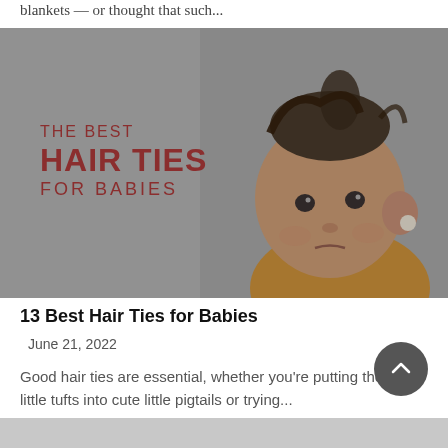blankets — or thought that such...
[Figure (photo): A baby with a small hair tie on top of their head, looking directly at camera with a serious expression. Overlay text on the image reads: THE BEST HAIR TIES FOR BABIES in dark red/maroon color. Background is grey/muted tones.]
13 Best Hair Ties for Babies
June 21, 2022
Good hair ties are essential, whether you're putting those little tufts into cute little pigtails or trying...